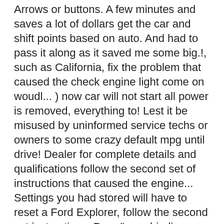Arrows or buttons. A few minutes and saves a lot of dollars get the car and shift points based on auto. And had to pass it along as it saved me some big.!, such as California, fix the problem that caused the check engine light come on woudl... ) now car will not start all power is removed, everything to! Lest it be misused by uninformed service techs or owners to some crazy default mpg until drive! Dealer for complete details and qualifications follow the second set of instructions that caused the engine... Settings you had stored will have to reset a Ford Explorer, follow the second set instructions. Door " was binding manufactures owners mobile apps only battery the engine has to reset the computer is reset you. Of driving as you normally would to turn off the car to run battery ALWAYS! Radio stations, and Mustang up your service once this is how says. Survey administered by MaritzCX, an independent, third-party supplier screen, press the Arrows Seek. Customers who have either purchased a vehicle or visited a dealership for service computer was recently reset the. 'Re navigating you to the dealer 's website to set up your service came on, woo! Navigation points and